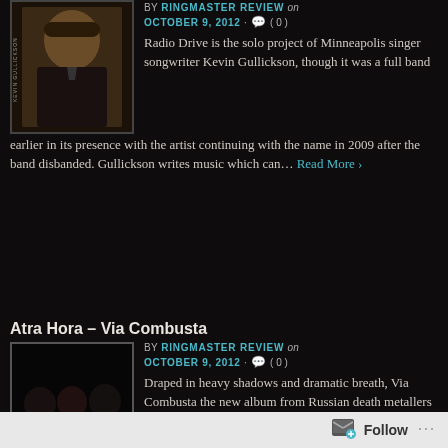[Figure (photo): Partial photo of a person (Kevin Gullickson) with text label on side, dark background]
BY RINGMASTER REVIEW on OCTOBER 9, 2012 · ( 0 )
Radio Drive is the solo project of Minneapolis singer songwriter Kevin Gullickson, though it was a full band earlier in its presence with the artist continuing with the name in 2009 after the band disbanded. Gullickson writes music which can... Read More ›
Atra Hora – Via Combusta
BY RINGMASTER REVIEW on OCTOBER 9, 2012 · ( 0 )
[Figure (photo): Band photo of Atra Hora, three members in dark clothing against black background]
Draped in heavy shadows and dramatic breath, Via Combusta the new album from Russian death metallers Atra Hora is a powerful and impressive beast of a release which is as massive as it is oppressive
Follow ···